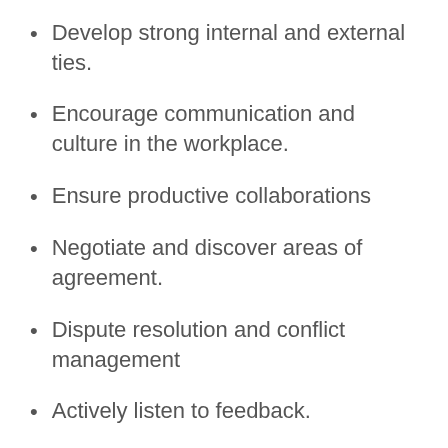Develop strong internal and external ties.
Encourage communication and culture in the workplace.
Ensure productive collaborations
Negotiate and discover areas of agreement.
Dispute resolution and conflict management
Actively listen to feedback.